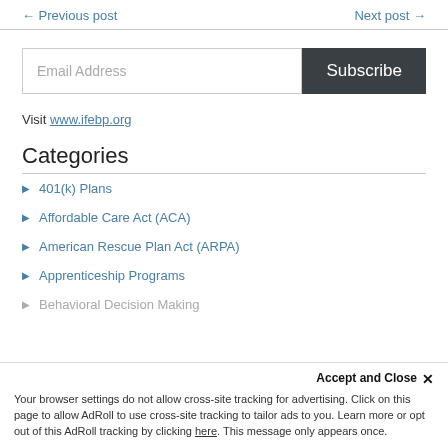← Previous post    Next post →
Email Address  Subscribe
Visit www.ifebp.org
Categories
401(k) Plans
Affordable Care Act (ACA)
American Rescue Plan Act (ARPA)
Apprenticeship Programs
Behavioral Decision Making
Accept and Close ✕
Your browser settings do not allow cross-site tracking for advertising. Click on this page to allow AdRoll to use cross-site tracking to tailor ads to you. Learn more or opt out of this AdRoll tracking by clicking here. This message only appears once.